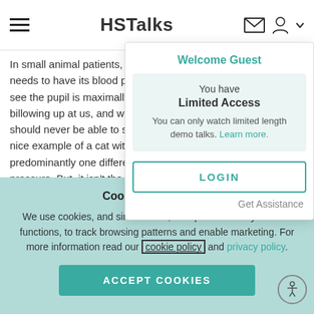HSTalks
In small animal patients, this needs to have its blood pressure see the pupil is maximally dilated billowing up at us, and we can should never be able to see it nice example of a cat with b predominantly one different pressure. But, it isn't the only need to measure blood pressure hypertensive or not. The question blood pressure? There are a a cat like this, which is that a
Welcome Guest
You have Limited Access You can only watch limited length demo talks. Learn more.
LOGIN
Get Assistance
Cookies and privacy
We use cookies, and similar tools, to improve the way this site functions, to track browsing patterns and enable marketing. For more information read our cookie policy and privacy policy.
ACCEPT COOKIES